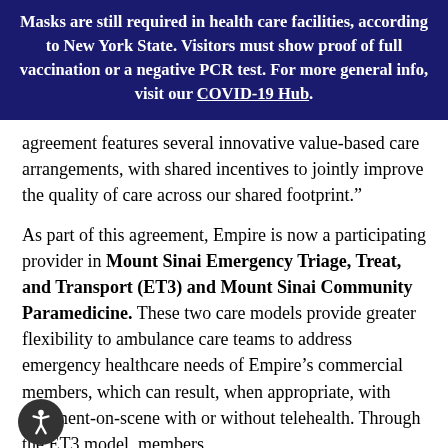Masks are still required in health care facilities, according to New York State. Visitors must show proof of full vaccination or a negative PCR test. For more general info, visit our COVID-19 Hub.
agreement features several innovative value-based care arrangements, with shared incentives to jointly improve the quality of care across our shared footprint.”
As part of this agreement, Empire is now a participating provider in Mount Sinai Emergency Triage, Treat, and Transport (ET3) and Mount Sinai Community Paramedicine. These two care models provide greater flexibility to ambulance care teams to address emergency healthcare needs of Empire’s commercial members, which can result, when appropriate, with treatment-on-scene with or without telehealth. Through the ET3 model, members